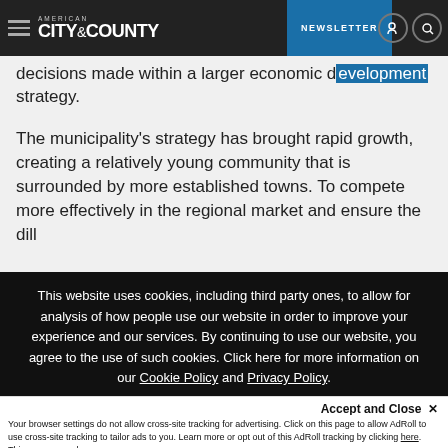American City & County — NEWSLETTER
decisions made within a larger economic d[evelopment] strategy.
The municipality's strategy has brought rapid growth, creating a relatively young community that is surrounded by more established towns. To compete more effectively in the regional market and ensure the [continued...]
This website uses cookies, including third party ones, to allow for analysis of how people use our website in order to improve your experience and our services. By continuing to use our website, you agree to the use of such cookies. Click here for more information on our Cookie Policy and Privacy Policy.
Accept and Close ✕
Your browser settings do not allow cross-site tracking for advertising. Click on this page to allow AdRoll to use cross-site tracking to tailor ads to you. Learn more or opt out of this AdRoll tracking by clicking here. This message only appears once.